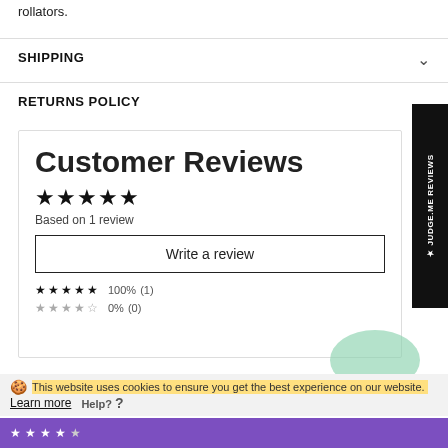rollators.
SHIPPING
RETURNS POLICY
Customer Reviews
★★★★★ Based on 1 review
Write a review
100% (1)
0% (0)
This website uses cookies to ensure you get the best experience on our website. Learn more
[Figure (other): JUDGE.ME REVIEWS sidebar badge]
[Figure (other): Help? chat bubble overlay]